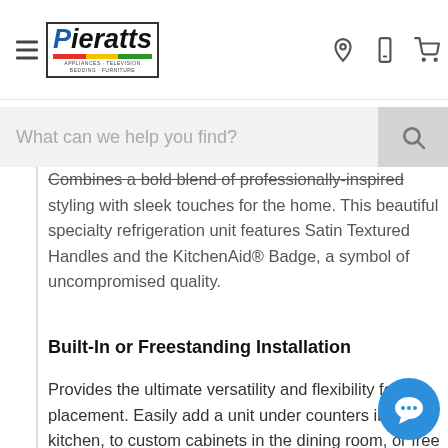Pierafts Appliances · Television · Bedding · Furniture — navigation with location, phone, and cart icons
What can we help you find?
Combines a bold blend of professionally-inspired styling with sleek touches for the home. This beautiful specialty refrigeration unit features Satin Textured Handles and the KitchenAid® Badge, a symbol of uncompromised quality.
Built-In or Freestanding Installation
Provides the ultimate versatility and flexibility for placement. Easily add a unit under counters in the kitchen, to custom cabinets in the dining room, or free standing anywhere you like around the house.
Pour Al...